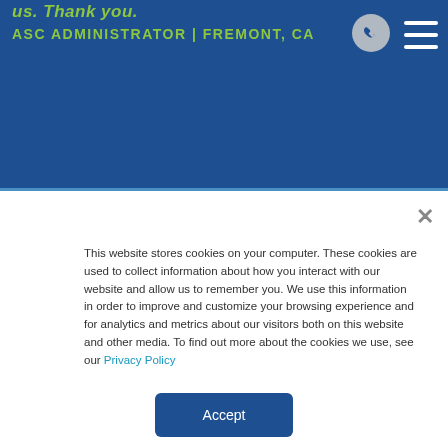us. Thank you.
ASC ADMINISTRATOR | FREMONT, CA
This website stores cookies on your computer. These cookies are used to collect information about how you interact with our website and allow us to remember you. We use this information in order to improve and customize your browsing experience and for analytics and metrics about our visitors both on this website and other media. To find out more about the cookies we use, see our Privacy Policy
Accept